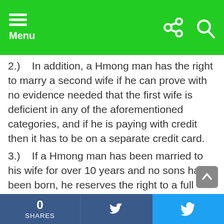Menu
2.)  In addition, a Hmong man has the right to marry a second wife if he can prove with no evidence needed that the first wife is deficient in any of the aforementioned categories, and if he is paying with credit then it has to be on a separate credit card.
3.)  If a Hmong man has been married to his wife for over 10 years and no sons have been born, he reserves the right to a full refund along with the $2,000 fee and any other marriage fees accrued over the course of the decade, including food, rent, and utilities [/box]
0 SHARES